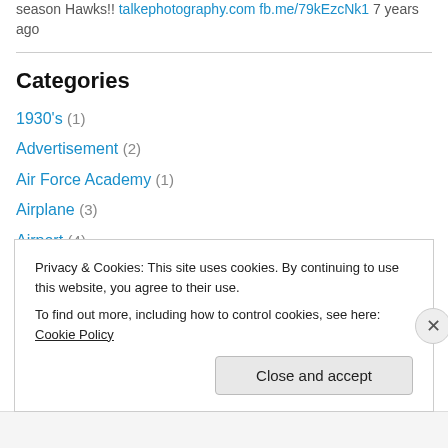season Hawks!! talkephotography.com fb.me/79kEzcNk1 7 years ago
Categories
1930's (1)
Advertisement (2)
Air Force Academy (1)
Airplane (3)
Airport (4)
Akita (1)
Albuquerque (5)
Alcatraz Island (4)
Privacy & Cookies: This site uses cookies. By continuing to use this website, you agree to their use. To find out more, including how to control cookies, see here: Cookie Policy
Close and accept